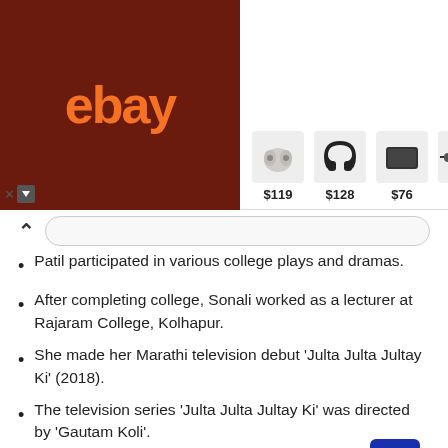[Figure (screenshot): eBay advertisement banner showing products: earbuds $119, headphones $128, speaker $76, sunglasses $99, tool kit $92.35, vacuum $149.99]
Patil participated in various college plays and dramas.
After completing college, Sonali worked as a lecturer at Rajaram College, Kolhapur.
She made her Marathi television debut ‘Julta Julta Jultay Ki’ (2018).
The television series ‘Julta Julta Jultay Ki’ was directed by ‘Gautam Koli’.
In 2018, she got the opportunity to work in the movie ‘Aaron’.
The film ‘Aaron’ was directed by ‘Omkar Ramesh